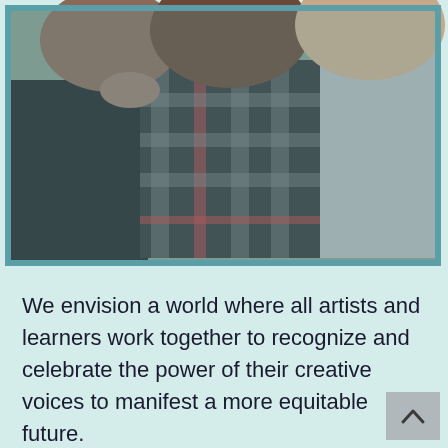[Figure (photo): Three young people posing together closely, wearing casual clothes including a plaid/flannel shirt and a gray hoodie. The photo has a teal/blue-tinted overlay and is framed with a teal border.]
We envision a world where all artists and learners work together to recognize and celebrate the power of their creative voices to manifest a more equitable future.
Learn More About Our Programs →